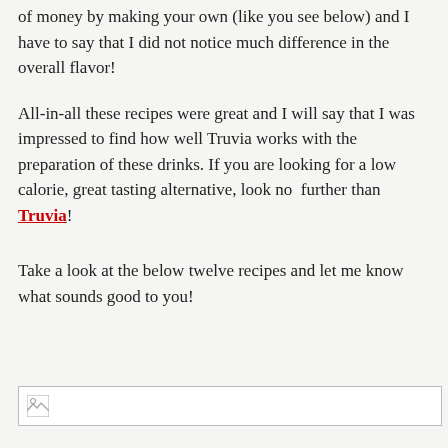of money by making your own (like you see below) and I have to say that I did not notice much difference in the overall flavor!
All-in-all these recipes were great and I will say that I was impressed to find how well Truvia works with the preparation of these drinks. If you are looking for a low calorie, great tasting alternative, look no further than Truvia!
Take a look at the below twelve recipes and let me know what sounds good to you!
[Figure (photo): Broken image placeholder at the bottom of the page]